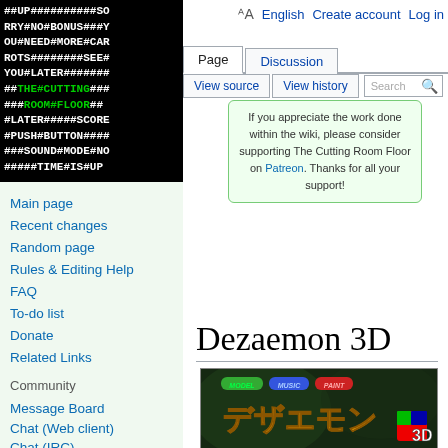[Figure (logo): The Cutting Room Floor wiki logo with ASCII art text on black background reading: ##UP##########SORRY#NO#BONUS###YOU#NEED#MORE#CARROTS########SEE#YOU#LATER#########THE#CUTTING#####ROOM#FLOOR##LATER#####SCORE#PUSH#BUTTON######SOUND#MODE#NO#####TIME#IS#UP]
English  Create account  Log in
Main page
Recent changes
Random page
Rules & Editing Help
FAQ
To-do list
Donate
Related Links
Community
Message Board
Chat (Web client)
Chat (IRC)
Discord
If you appreciate the work done within the wiki, please consider supporting The Cutting Room Floor on Patreon. Thanks for all your support!
Dezaemon 3D
[Figure (screenshot): Dezaemon 3D game title screen showing Japanese text and 3D logo with MODEL, MUSIC, PAINT buttons]